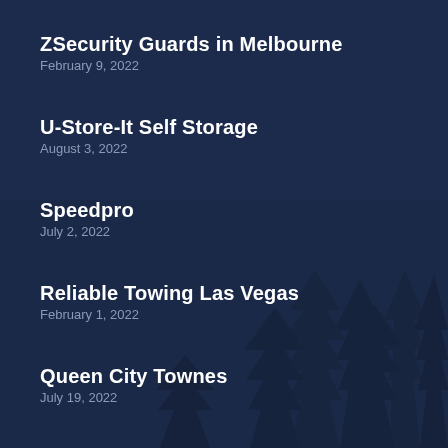ZSecurity Guards in Melbourne
February 9, 2022
U-Store-It Self Storage
August 3, 2022
Speedpro
July 2, 2022
Reliable Towing Las Vegas
February 1, 2022
Queen City Townes
July 19, 2022